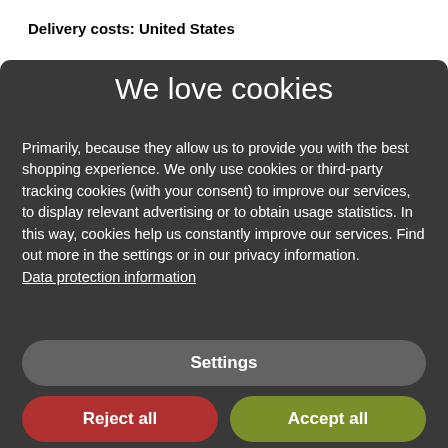Delivery costs: United States
We love cookies
Primarily, because they allow us to provide you with the best shopping experience. We only use cookies or third-party tracking cookies (with your consent) to improve our services, to display relevant advertising or to obtain usage statistics. In this way, cookies help us constantly improve our services. Find out more in the settings or in our privacy information. Data protection information
Settings
Reject all
Accept all